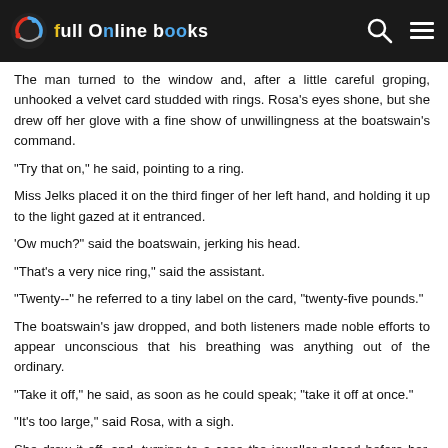Full Online Books
The man turned to the window and, after a little careful groping, unhooked a velvet card studded with rings. Rosa's eyes shone, but she drew off her glove with a fine show of unwillingness at the boatswain's command.
"Try that on," he said, pointing to a ring.
Miss Jelks placed it on the third finger of her left hand, and holding it up to the light gazed at it entranced.
'Ow much?" said the boatswain, jerking his head.
"That's a very nice ring," said the assistant.
"Twenty--" he referred to a tiny label on the card, "twenty-five pounds."
The boatswain's jaw dropped, and both listeners made noble efforts to appear unconscious that his breathing was anything out of the ordinary.
"Take it off," he said, as soon as he could speak; "take it off at once."
"It's too large," said Rosa, with a sigh.
She drew it off, and, turning to a case the jeweller placed before her, tried on several more. Suited at last, she held up her hand with the ring on it for Mr. Walters's inspection.
"It fits beautifully," she said, softly, as the boatswain scratched the back of his neck.
"A very nice ring, that," said the assistant. "A queen might wear it."